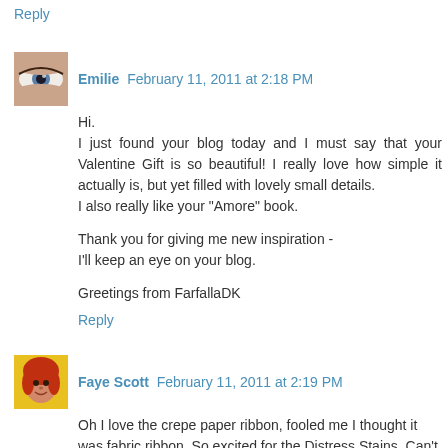Reply
[Figure (photo): Avatar of Emilie showing a close-up of an eye]
Emilie February 11, 2011 at 2:18 PM
Hi.
I just found your blog today and I must say that your Valentine Gift is so beautiful! I really love how simple it actually is, but yet filled with lovely small details.
I also really like your "Amore" book.

Thank you for giving me new inspiration -
I'll keep an eye on your blog.

Greetings from FarfallaDK
Reply
[Figure (photo): Avatar of Faye Scott showing a woman with red hair on yellow background]
Faye Scott February 11, 2011 at 2:19 PM
Oh I love the crepe paper ribbon, fooled me I thought it was fabric ribbon. So excited for the Distress Stains. Can't wait to try them out:)